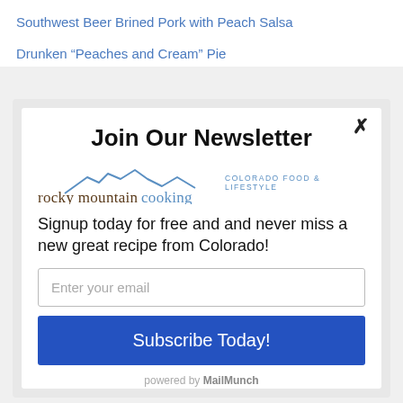Southwest Beer Brined Pork with Peach Salsa
Drunken “Peaches and Cream” Pie
Join Our Newsletter
[Figure (logo): Rocky Mountain Cooking logo with mountain silhouette illustration and text 'rocky mountain cooking COLORADO FOOD & LIFESTYLE']
Signup today for free and and never miss a new great recipe from Colorado!
Enter your email
Subscribe Today!
powered by MailMunch